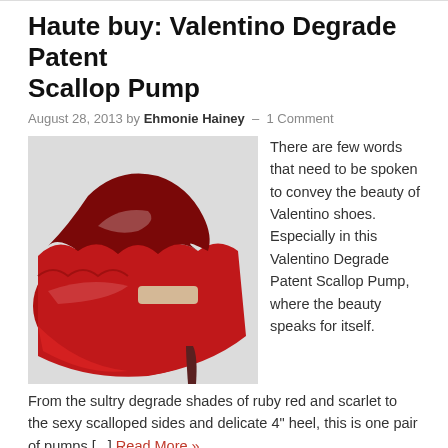Haute buy: Valentino Degrade Patent Scallop Pump
August 28, 2013 by Ehmonie Hainey — 1 Comment
[Figure (photo): Close-up photograph of a red Valentino Degrade Patent Scallop Pump high heel shoe against a light gray background]
There are few words that need to be spoken to convey the beauty of Valentino shoes. Especially in this Valentino Degrade Patent Scallop Pump, where the beauty speaks for itself. From the sultry degrade shades of ruby red and scarlet to the sexy scalloped sides and delicate 4" heel, this is one pair of pumps [...] Read More »
Haute buy: Erica Weiner Magicicada Earrings